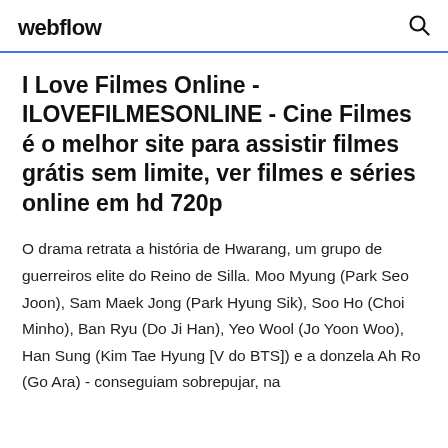webflow
I Love Filmes Online - ILOVEFILMESONLINE - Cine Filmes é o melhor site para assistir filmes grátis sem limite, ver filmes e séries online em hd 720p
O drama retrata a história de Hwarang, um grupo de guerreiros elite do Reino de Silla. Moo Myung (Park Seo Joon), Sam Maek Jong (Park Hyung Sik), Soo Ho (Choi Minho), Ban Ryu (Do Ji Han), Yeo Wool (Jo Yoon Woo), Han Sung (Kim Tae Hyung [V do BTS]) e a donzela Ah Ro (Go Ara) - conseguiam sobrepujar, na